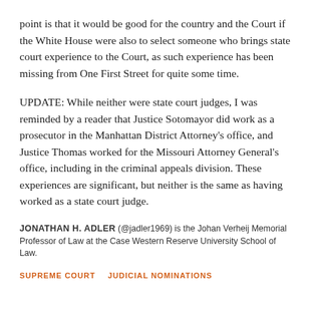point is that it would be good for the country and the Court if the White House were also to select someone who brings state court experience to the Court, as such experience has been missing from One First Street for quite some time.
UPDATE: While neither were state court judges, I was reminded by a reader that Justice Sotomayor did work as a prosecutor in the Manhattan District Attorney's office, and Justice Thomas worked for the Missouri Attorney General's office, including in the criminal appeals division. These experiences are significant, but neither is the same as having worked as a state court judge.
JONATHAN H. ADLER (@jadler1969) is the Johan Verheij Memorial Professor of Law at the Case Western Reserve University School of Law.
SUPREME COURT   JUDICIAL NOMINATIONS